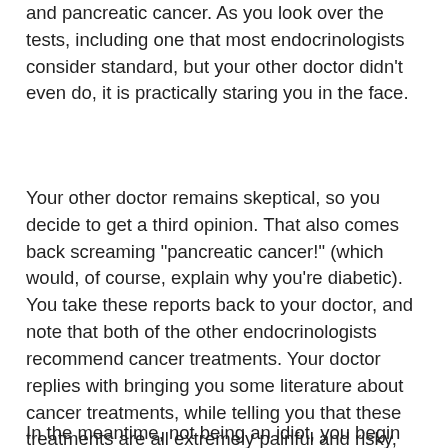and pancreatic cancer. As you look over the tests, including one that most endocrinologists consider standard, but your other doctor didn't even do, it is practically staring you in the face.
Your other doctor remains skeptical, so you decide to get a third opinion. That also comes back screaming "pancreatic cancer!" (which would, of course, explain why you're diabetic). You take these reports back to your doctor, and note that both of the other endocrinologists recommend cancer treatments. Your doctor replies with bringing you some literature about cancer treatments, while telling you that these treatments are all extremely painful and risky, and you *could* try them, but why bother? Your sugar is improving with the treatment you are getting, and its the diabetes that needs to be controlled. You insist on at least some treatment for some of your other symptoms that have been revealed by the other testing, and to get your sugars under control. The doctor reluctantly gives you an increase in insulin.
In the meantime, not being an idiot, you begin cancer